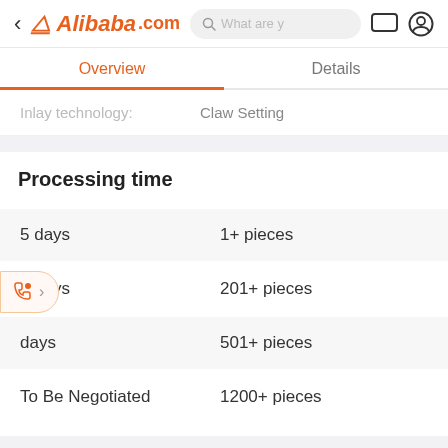Alibaba.com — Overview | Details navigation header
Inlay technology: Claw Setting
Processing time
| Processing time | Quantity |
| --- | --- |
| 5 days | 1+ pieces |
| 7 days | 201+ pieces |
| days | 501+ pieces |
| To Be Negotiated | 1200+ pieces |